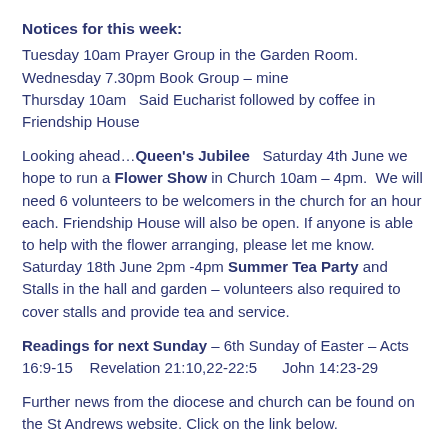Notices for this week:
Tuesday 10am Prayer Group in the Garden Room.
Wednesday 7.30pm Book Group – mine
Thursday 10am   Said Eucharist followed by coffee in Friendship House
Looking ahead...Queen's Jubilee   Saturday 4th June we hope to run a Flower Show in Church 10am – 4pm.  We will need 6 volunteers to be welcomers in the church for an hour each. Friendship House will also be open. If anyone is able to help with the flower arranging, please let me know.
Saturday 18th June 2pm -4pm Summer Tea Party and Stalls in the hall and garden – volunteers also required to cover stalls and provide tea and service.
Readings for next Sunday – 6th Sunday of Easter – Acts 16:9-15   Revelation 21:10,22-22:5      John 14:23-29
Further news from the diocese and church can be found on the St Andrews website. Click on the link below.